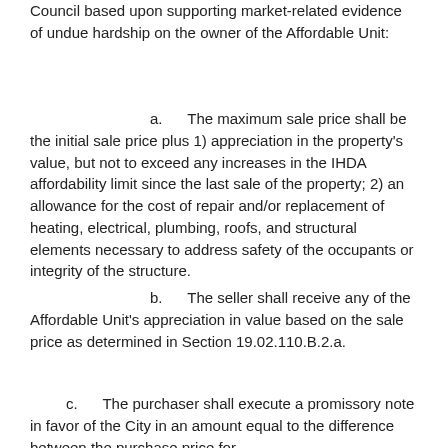Council based upon supporting market-related evidence of undue hardship on the owner of the Affordable Unit:
a.      The maximum sale price shall be the initial sale price plus 1) appreciation in the property's value, but not to exceed any increases in the IHDA affordability limit since the last sale of the property; 2) an allowance for the cost of repair and/or replacement of heating, electrical, plumbing, roofs, and structural elements necessary to address safety of the occupants or integrity of the structure.
b.      The seller shall receive any of the Affordable Unit's appreciation in value based on the sale price as determined in Section 19.02.110.B.2.a.
c.      The purchaser shall execute a promissory note in favor of the City in an amount equal to the difference between the purchase price for